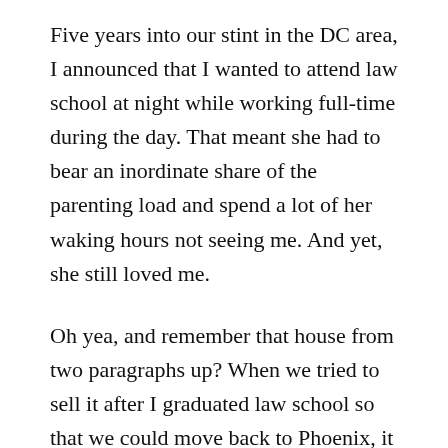Five years into our stint in the DC area, I announced that I wanted to attend law school at night while working full-time during the day. That meant she had to bear an inordinate share of the parenting load and spend a lot of her waking hours not seeing me. And yet, she still loved me.
Oh yea, and remember that house from two paragraphs up? When we tried to sell it after I graduated law school so that we could move back to Phoenix, it took much, much longer than anticipated and we barely broke even. And yet, she still loved me.